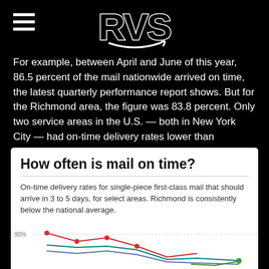[Figure (logo): RVS logo in white block letters with outline style on black background, with hamburger menu icon on the left]
For example, between April and June of this year, 86.5 percent of the mail nationwide arrived on time, the latest quarterly performance report shows. But for the Richmond area, the figure was 83.8 percent. Only two service areas in the U.S. — both in New York City — had on-time delivery rates lower than Richmond's.
How often is mail on time?
On-time delivery rates for single-piece first-class mail that should arrive in 3 to 5 days, for select areas. Richmond is consistently below the national average.
[Figure (line-chart): Partial line chart showing on-time delivery rates with 90% gridline visible, with colored lines (red, teal/blue, green) plotted over time]